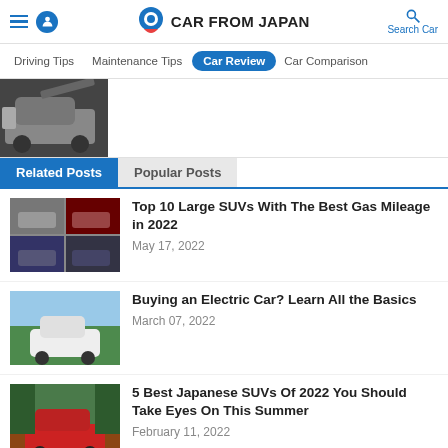CAR FROM JAPAN
Driving Tips | Maintenance Tips | Car Review | Car Comparison
[Figure (photo): Partial view of a car with open hood]
Related Posts | Popular Posts
Top 10 Large SUVs With The Best Gas Mileage in 2022 — May 17, 2022
Buying an Electric Car? Learn All the Basics — March 07, 2022
5 Best Japanese SUVs Of 2022 You Should Take Eyes On This Summer — February 11, 2022